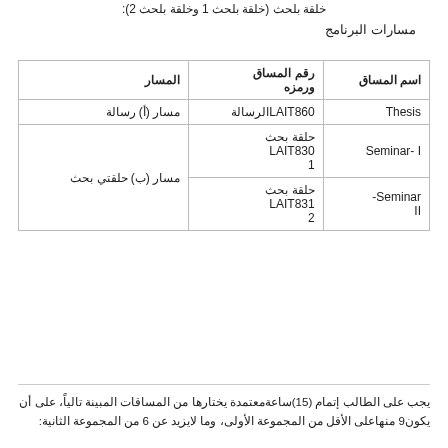خلقة بلحث (خلقة بلحث 1 وخلقة بلحث 2):
مسارات البرنامج
| اسم المساق | رقم المساق ورمزه | المسار |
| --- | --- | --- |
| Thesis | LAIT860الرسالة | مسار (أ) رسالة |
| Seminar- I | حلقة بحث 1 LAIT830 | مسار (ب) حلقتي بحث |
| Seminar- II | حلقة بحث 2 LAIT831 |  |
يجب على الطالب إتمام (15)ساعةمعتمدة يختارها من المساقات المبينة تالياً، على أن يكون9 منهاعلى الأقل من المجموعة الأولى، وما لايزيد عن 6 من المجموعة الثانية: